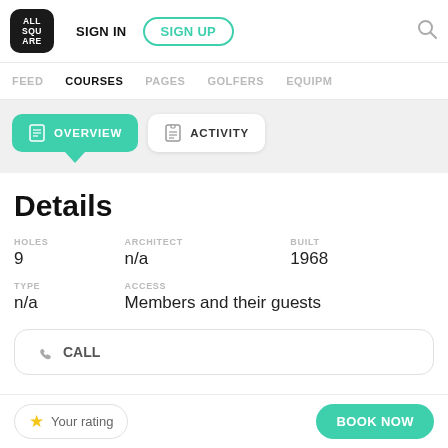ALL SQU ARE | SIGN IN | SIGN UP | FEED | COURSES | PAGES | GOLFERS | EQUIPM
[Figure (screenshot): Navigation tab bar with OVERVIEW (active, teal) and ACTIVITY buttons]
Details
HOLES
9
ARCHITECT
n/a
BUILT
1968
TYPE
n/a
ACCESS
Members and their guests
📞 CALL
⭐ Your rating    BOOK NOW